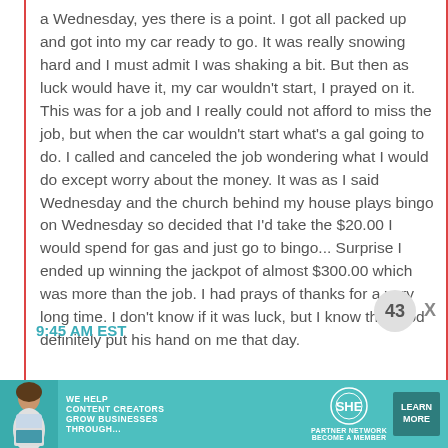a Wednesday, yes there is a point. I got all packed up and got into my car ready to go. It was really snowing hard and I must admit I was shaking a bit. But then as luck would have it, my car wouldn't start, I prayed on it. This was for a job and I really could not afford to miss the job, but when the car wouldn't start what's a gal going to do. I called and canceled the job wondering what I would do except worry about the money. It was as I said Wednesday and the church behind my house plays bingo on Wednesday so decided that I'd take the $20.00 I would spend for gas and just go to bingo... Surprise I ended up winning the jackpot of almost $300.00 which was more than the job. I had prays of thanks for a very long time. I don't know if it was luck, but I know that God definitely put his hand on me that day.
9:45 AM EST
[Figure (screenshot): Ad banner for SHE Media Partner Network: 'We help content creators grow businesses through...' with a Learn More button and woman photo]